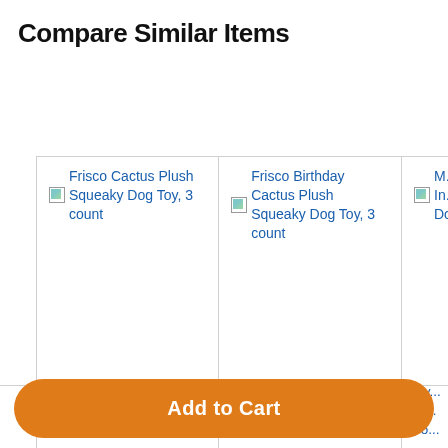Compare Similar Items
| Item 1 | Item 2 | Item 3 (partial) |
| --- | --- | --- |
| This Item - Frisco Cactus Plush Squeaky Dog Toy, 3 count | Frisco Birthday Cactus Plush Squeaky Dog Toy, 3 count | Hy... In... Do... |
| Add to Cart | Add to Cart | Add to Cart (partial) |